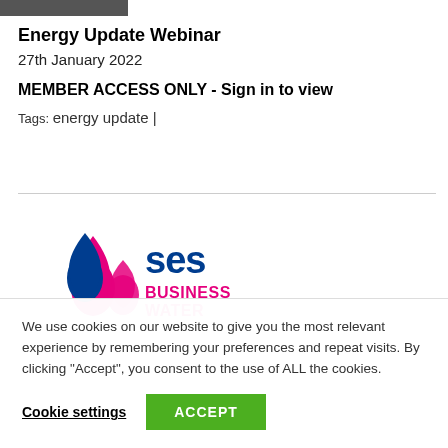[Figure (photo): Partial top image strip (cropped photo, mostly cut off)]
Energy Update Webinar
27th January 2022
MEMBER ACCESS ONLY - Sign in to view
Tags: energy update |
[Figure (logo): SES Business Water logo — blue and magenta water drop shapes with 'ses BUSINESS WATER' text in navy and magenta]
We use cookies on our website to give you the most relevant experience by remembering your preferences and repeat visits. By clicking "Accept", you consent to the use of ALL the cookies.
Cookie settings  ACCEPT